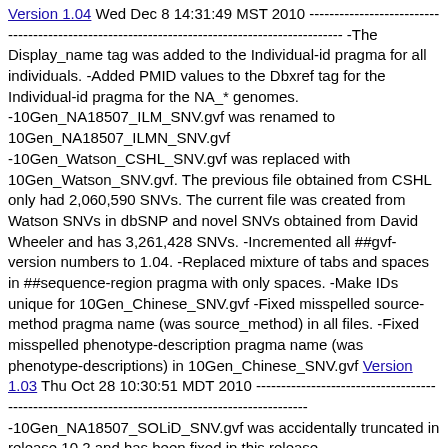Version 1.04 Wed Dec 8 14:31:49 MST 2010 ----------------------------------------------------------------- -The Display_name tag was added to the Individual-id pragma for all individuals. -Added PMID values to the Dbxref tag for the Individual-id pragma for the NA_* genomes. -10Gen_NA18507_ILM_SNV.gvf was renamed to 10Gen_NA18507_ILMN_SNV.gvf -10Gen_Watson_CSHL_SNV.gvf was replaced with 10Gen_Watson_SNV.gvf. The previous file obtained from CSHL only had 2,060,590 SNVs. The current file was created from Watson SNVs in dbSNP and novel SNVs obtained from David Wheeler and has 3,261,428 SNVs. -Incremented all ##gvf-version numbers to 1.04. -Replaced mixture of tabs and spaces in ##sequence-region pragma with only spaces. -Make IDs unique for 10Gen_Chinese_SNV.gvf -Fixed misspelled source-method pragma name (was source_method) in all files. -Fixed misspelled phenotype-description pragma name (was phenotype-descriptions) in 10Gen_Chinese_SNV.gvf Version 1.03 Thu Oct 28 10:30:51 MDT 2010 ----------------------------------------------------------------- -10Gen_NA18507_SOLiD_SNV.gvf was accidentally truncated in release 10.2 and has been fixed in this release. -10Gen_Korean_SNV.gvf, 10Gen_NA07022_SNV.gvf, 10Gen_NA12878_SNV.gvf had their ##gvf-version numbers incremented to 1.02. Version 1.02 Wed Jul 21 16:20:19 MDT 2010 ----------------------------------------------------------------- -Changed the name of 10Gen_NA18507_Sanger_SNV.gvf to